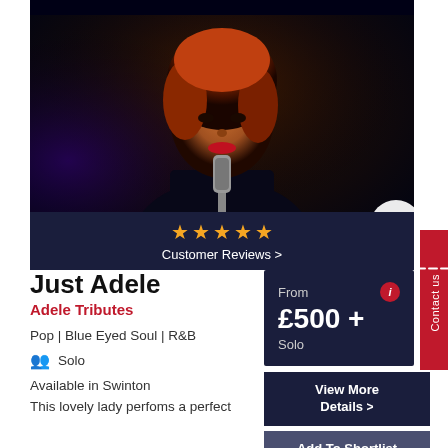[Figure (photo): Woman with red hair singing into a microphone on a dark stage, lit with purple/orange stage lighting. A play button icon overlays the bottom-right of the image.]
★★★★★ Customer Reviews >
Just Adele
Adele Tributes
Pop | Blue Eyed Soul | R&B
Solo
Available in Swinton
This lovely lady perfoms a perfect
From £500 + Solo
View More Details >
Add To Shortlist